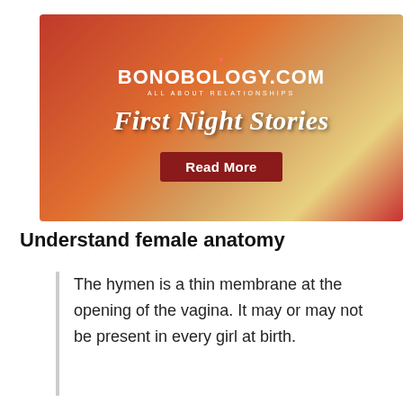[Figure (illustration): Bonobology.com website banner for 'First Night Stories' with red/orange romantic background featuring hearts, lips, wedding rings, and couple silhouettes. Includes site logo at top and a 'Read More' button.]
Understand female anatomy
The hymen is a thin membrane at the opening of the vagina. It may or may not be present in every girl at birth.